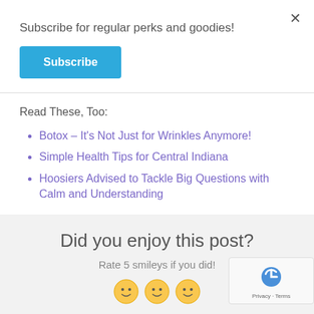Subscribe for regular perks and goodies!
Subscribe
Read These, Too:
Botox – It's Not Just for Wrinkles Anymore!
Simple Health Tips for Central Indiana
Hoosiers Advised to Tackle Big Questions with Calm and Understanding
Did you enjoy this post?
Rate 5 smileys if you did!